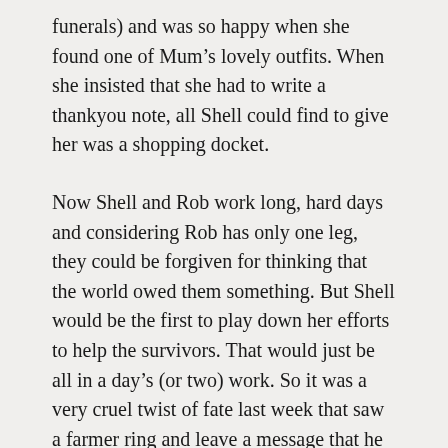funerals) and was so happy when she found one of Mum’s lovely outfits. When she insisted that she had to write a thankyou note, all Shell could find to give her was a shopping docket.
Now Shell and Rob work long, hard days and considering Rob has only one leg, they could be forgiven for thinking that the world owed them something. But Shell would be the first to play down her efforts to help the survivors. That would just be all in a day’s (or two) work. So it was a very cruel twist of fate last week that saw a farmer ring and leave a message that he had found her two dogs on his property and had shot and killed them both.